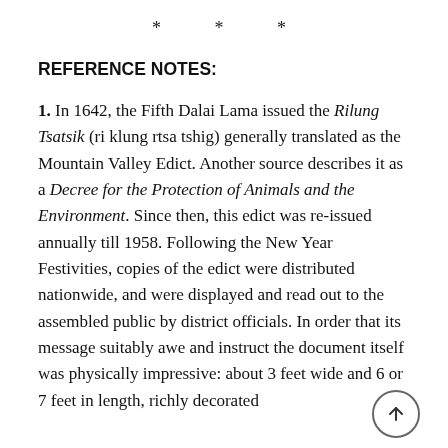* * *
REFERENCE NOTES:
1. In 1642, the Fifth Dalai Lama issued the Rilung Tsatsik (ri klung rtsa tshig) generally translated as the Mountain Valley Edict. Another source describes it as a Decree for the Protection of Animals and the Environment. Since then, this edict was re-issued annually till 1958. Following the New Year Festivities, copies of the edict were distributed nationwide, and were displayed and read out to the assembled public by district officials. In order that its message suitably awe and instruct the document itself was physically impressive: about 3 feet wide and 6 or 7 feet in length, richly decorated